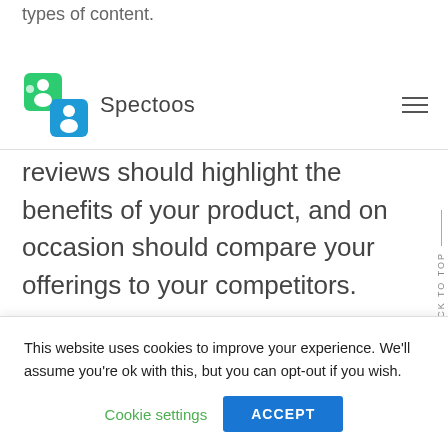types of content.
[Figure (logo): Spectoos logo with green/blue icon of people silhouettes and 'Spectoos' text]
reviews should highlight the benefits of your product, and on occasion should compare your offerings to your competitors.
At Spectoos, we have developed ways to get customer testimonials that enable you
This website uses cookies to improve your experience. We'll assume you're ok with this, but you can opt-out if you wish.
Cookie settings
ACCEPT